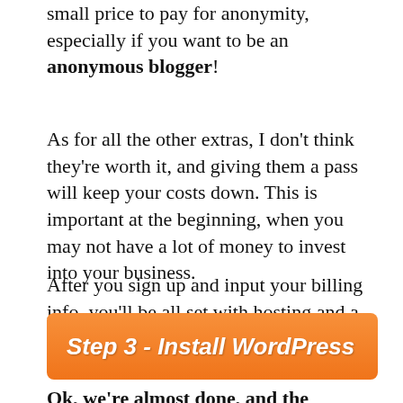small price to pay for anonymity, especially if you want to be an anonymous blogger!
As for all the other extras, I don't think they're worth it, and giving them a pass will keep your costs down. This is important at the beginning, when you may not have a lot of money to invest into your business.
After you sign up and input your billing info, you'll be all set with hosting and a domain! Bear in mind that the full amount will be billed at once.
Step 3 - Install WordPress
Ok, we're almost done, and the "technical"